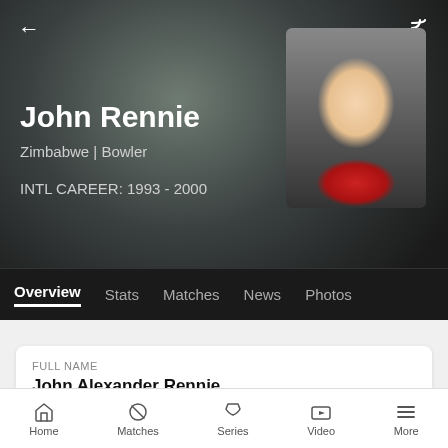[Figure (screenshot): Cricket player profile hero image with blurred dark background and photo of John Rennie]
John Rennie
Zimbabwe | Bowler
INTL CAREER: 1993 - 2000
Overview  Stats  Matches  News  Photos
FULL NAME
John Alexander Rennie
BORN
AGE
Home  Matches  Series  Video  More